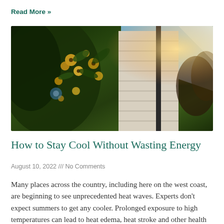Read More »
[Figure (photo): Close-up photo of yellow flowering plants growing along a white wooden building exterior, with bright sunlight in the background]
How to Stay Cool Without Wasting Energy
August 10, 2022 /// No Comments
Many places across the country, including here on the west coast, are beginning to see unprecedented heat waves. Experts don't expect summers to get any cooler. Prolonged exposure to high temperatures can lead to heat edema, heat stroke and other health problems. It can be especially